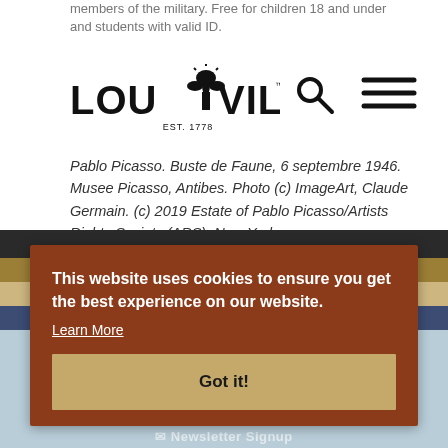members of the military. Free for children 18 and under and students with valid ID.
[Figure (logo): Louisville EST. 1778 logo with fleur-de-lis motif, black text on white background, with search and hamburger menu icons]
Pablo Picasso. Buste de Faune, 6 septembre 1946. Musee Picasso, Antibes. Photo (c) ImageArt, Claude Germain. (c) 2019 Estate of Pablo Picasso/Artists Rights Society (ARS), New York
This website uses cookies to ensure you get the best experience on our website. Learn More Got it!